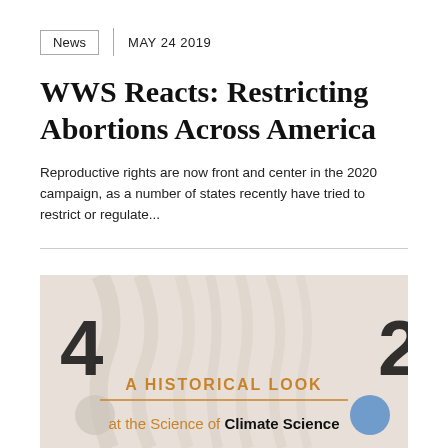News  |  MAY 24 2019
WWS Reacts: Restricting Abortions Across America
Reproductive rights are now front and center in the 2020 campaign, as a number of states recently have tried to restrict or regulate...
[Figure (infographic): Infographic showing large numeral '4' on left and partial '2' on right, with text 'A HISTORICAL LOOK at the Science of Climate Science' on a light beige/cream background with subtle curtain-like imagery. An orange horizontal line separates the heading from the subtitle.]